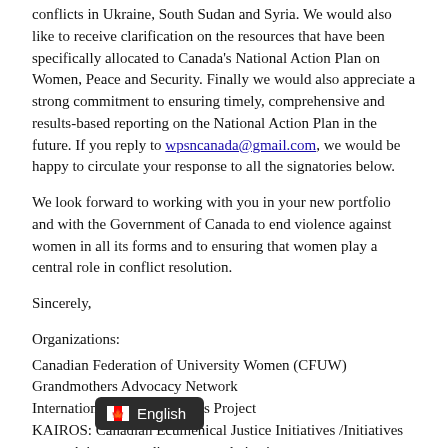conflicts in Ukraine, South Sudan and Syria. We would also like to receive clarification on the resources that have been specifically allocated to Canada's National Action Plan on Women, Peace and Security. Finally we would also appreciate a strong commitment to ensuring timely, comprehensive and results-based reporting on the National Action Plan in the future. If you reply to wpsncanada@gmail.com, we would be happy to circulate your response to all the signatories below.
We look forward to working with you in your new portfolio and with the Government of Canada to end violence against women in all its forms and to ensuring that women play a central role in conflict resolution.
Sincerely,
Organizations:
Canadian Federation of University Women (CFUW)
Grandmothers Advocacy Network
International Women's Rights Project
KAIROS: Canadian Ecumenical Justice Initiatives /Initiatives oecuméniques canadiennes pour la justice
MATCH International Women's Fund